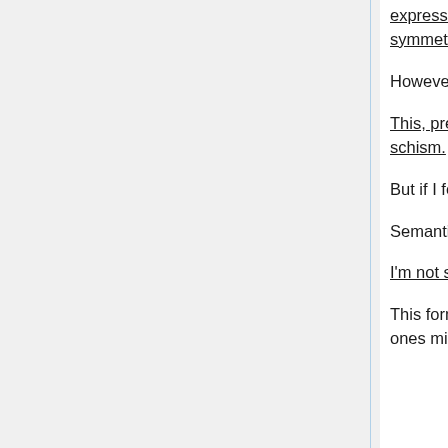expressed. ('Elegance' not as in floweriness but having to do with harmony and symmetry with with the rest of the language.)
However, anyone can do anything they please as long as it doesn't hurt anyone.
This, prevailing, view, is one reason why, uniquely, Lojban has not undergone schism.
But if I felt that the tinkering harmed the language community...
Semantic exploration is a noble use of Lojban
I'm not sure what that is, but it sounds good.
This form of exploration is a worthy goal in any language, as it tends to expand ones mind. Unlike tinkering with the